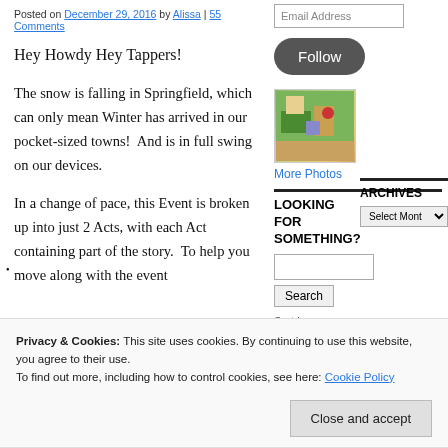Posted on December 29, 2016 by Alissa | 55 Comments
Hey Howdy Hey Tappers!
The snow is falling in Springfield, which can only mean Winter has arrived in our pocket-sized towns!  And is in full swing on our devices.
In a change of pace, this Event is broken up into just 2 Acts, with each Act containing part of the story.  To help you move along with the event
[Figure (screenshot): Email address input field]
[Figure (other): Follow button (dark rounded rectangle)]
[Figure (screenshot): Isometric game screenshot showing Springfield town]
More Photos
LOOKING FOR SOMETHING?
[Figure (screenshot): Search input box]
Search
Sort by
[Figure (screenshot): Relevance dropdown]
WON'T YOU
ARCHIVES
[Figure (screenshot): Select Month dropdown]
Privacy & Cookies: This site uses cookies. By continuing to use this website, you agree to their use.
To find out more, including how to control cookies, see here: Cookie Policy
Close and accept
with collecting Brooches (🔴) to